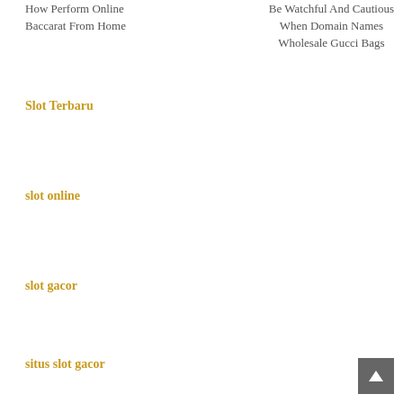How Perform Online Baccarat From Home
Be Watchful And Cautious When Domain Names Wholesale Gucci Bags
Slot Terbaru
slot online
slot gacor
situs slot gacor